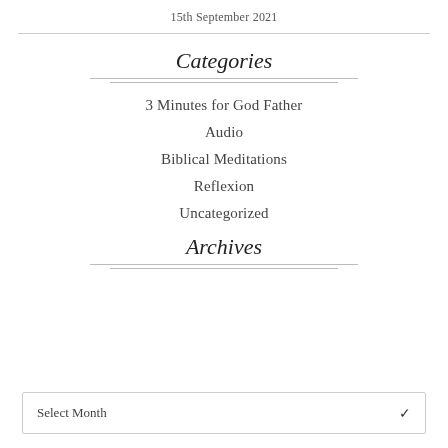15th September 2021
Categories
3 Minutes for God Father
Audio
Biblical Meditations
Reflexion
Uncategorized
Archives
Select Month